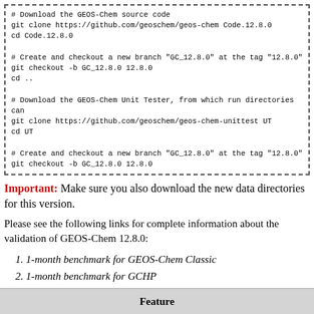# Download the GEOS-Chem source code
git clone https://github.com/geoschem/geos-chem Code.12.8.0
cd Code.12.8.0

# Create and checkout a new branch "GC_12.8.0" at the tag "12.8.0"
git checkout -b GC_12.8.0 12.8.0
cd ..

# Download the GEOS-Chem Unit Tester, from which run directories can
git clone https://github.com/geoschem/geos-chem-unittest UT
cd UT

# Create and checkout a new branch "GC_12.8.0" at the tag "12.8.0"
git checkout -b GC_12.8.0 12.8.0
Important: Make sure you also download the new data directories for this version.
Please see the following links for complete information about the validation of GEOS-Chem 12.8.0:
1. 1-month benchmark for GEOS-Chem Classic
2. 1-month benchmark for GCHP
3. 1-year transport tracer benchmark for GEOS-Chem Classic
4. 1-year full-chemistry benchmark for GEOS-Chem Classic
Feature